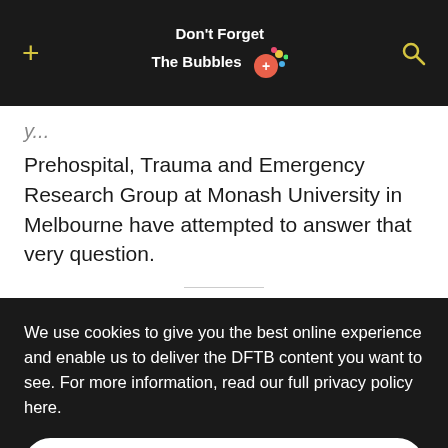+ Don't Forget The Bubbles [search icon]
Prehospital, Trauma and Emergency Research Group at Monash University in Melbourne have attempted to answer that very question.
We use cookies to give you the best online experience and enable us to deliver the DFTB content you want to see. For more information, read our full privacy policy here.
Accept All
Dismiss